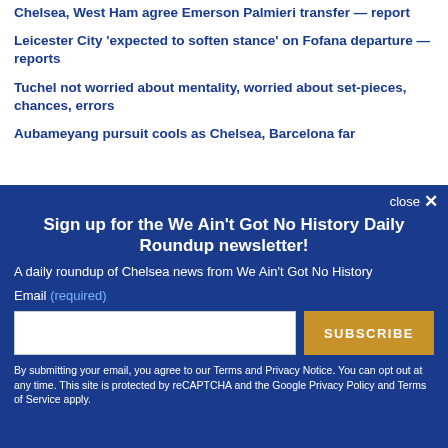Chelsea, West Ham agree Emerson Palmieri transfer — report
Leicester City 'expected to soften stance' on Fofana departure — reports
Tuchel not worried about mentality, worried about set-pieces, chances, errors
Aubameyang pursuit cools as Chelsea, Barcelona far
Sign up for the We Ain't Got No History Daily Roundup newsletter!
A daily roundup of Chelsea news from We Ain't Got No History
Email (required)
SUBSCRIBE
By submitting your email, you agree to our Terms and Privacy Notice. You can opt out at any time. This site is protected by reCAPTCHA and the Google Privacy Policy and Terms of Service apply.